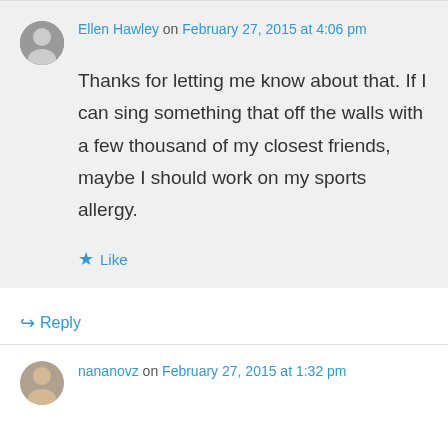Ellen Hawley on February 27, 2015 at 4:06 pm
Thanks for letting me know about that. If I can sing something that off the walls with a few thousand of my closest friends, maybe I should work on my sports allergy.
Like
Reply
nananovz on February 27, 2015 at 1:32 pm